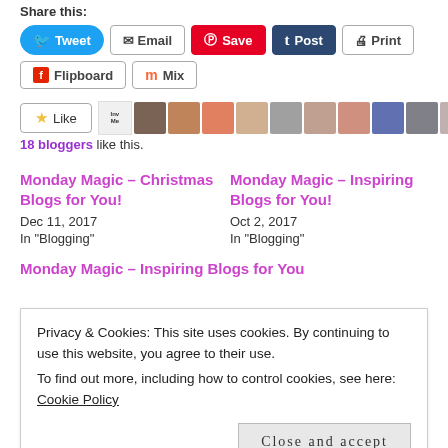Share this:
[Figure (infographic): Social sharing buttons: Tweet, Email, Save (Pinterest), Post (Tumblr), Print, Flipboard, Mix]
[Figure (infographic): Like button with star icon and row of 10 blogger avatar photos]
18 bloggers like this.
Monday Magic – Christmas Blogs for You!
Dec 11, 2017
In "Blogging"
Monday Magic – Inspiring Blogs for You!
Oct 2, 2017
In "Blogging"
Monday Magic – Inspiring Blogs for You
Privacy & Cookies: This site uses cookies. By continuing to use this website, you agree to their use.
To find out more, including how to control cookies, see here: Cookie Policy
Close and accept